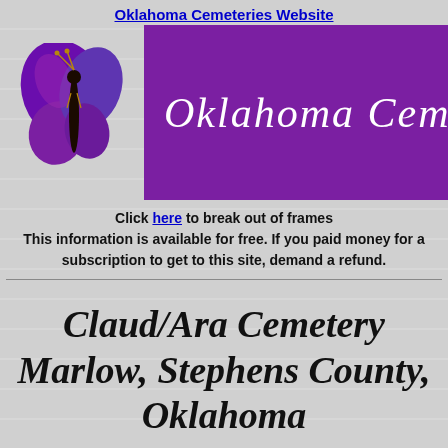Oklahoma Cemeteries Website
[Figure (illustration): Purple butterfly illustration on left side of header]
Oklahoma Cemeteies
Click here to break out of frames
This information is available for free. If you paid money for a subscription to get to this site, demand a refund.
Claud/Ara Cemetery Marlow, Stephens County, Oklahoma
Cemetery surveyed January 1, 2004. submitted by: Karla Sharp & Tammy Sharp